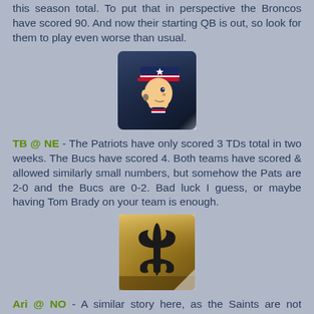this season total. To put that in perspective the Broncos have scored 90. And now their starting QB is out, so look for them to play even worse than usual.
[Figure (logo): New England Patriots NFL team logo on dark blue metallic square background]
TB @ NE - The Patriots have only scored 3 TDs total in two weeks. The Bucs have scored 4. Both teams have scored & allowed similarly small numbers, but somehow the Pats are 2-0 and the Bucs are 0-2. Bad luck I guess, or maybe having Tom Brady on your team is enough.
[Figure (logo): New Orleans Saints NFL team logo (fleur-de-lis) on gold metallic square background]
Ari @ NO - A similar story here, as the Saints are not putting up the numbers that we are all accustomed to. It's early & I'm sure they'll figure things out, but right now they're just a mediocre team. However, they win at home and you know someday Brees will get hot. Why not now?